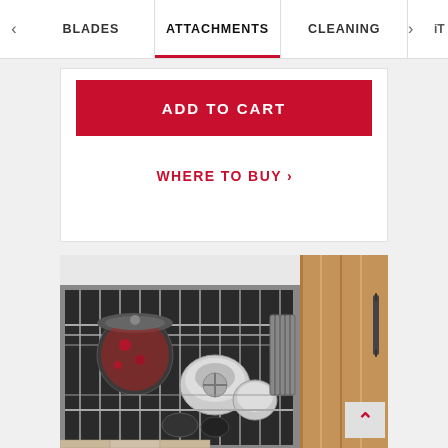BLADES | ATTACHMENTS | CLEANING | iT
ADD TO CART
WHERE TO BUY >
[Figure (photo): Open dishwasher with stainless steel and plastic kitchen appliance parts, blades, bowls, and attachments loaded on the rack. Wooden cabinet visible in background.]